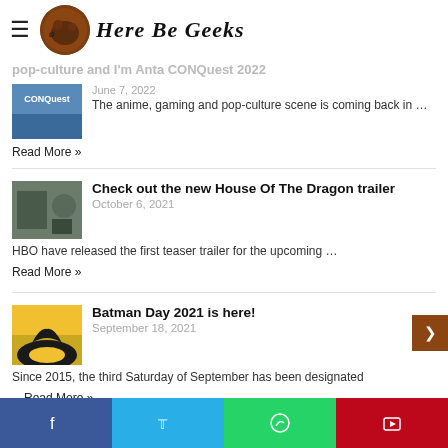Here Be Geeks
Read More »
The anime, gaming and pop-culture scene is coming back in … Read More »
Check out the new House Of The Dragon trailer
October 6, 2021
HBO have released the first teaser trailer for the upcoming … Read More »
Batman Day 2021 is here!
September 18, 2021
Since 2015, the third Saturday of September has been designated …Read More »
Celebrate Batman Day with the family from Sep 18
Social share buttons: Facebook, Twitter, WhatsApp, Pinterest